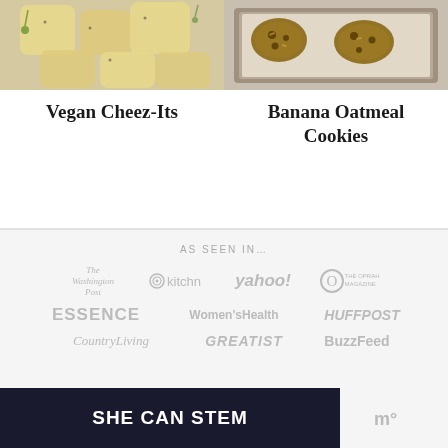[Figure (photo): Photo of vegan cheez-it crackers with herbs on a surface]
Vegan Cheez-Its
[Figure (photo): Photo of banana oatmeal cookies on a baking tray]
Banana Oatmeal Cookies
AS SEEN IN...
[Figure (logo): The Washington Post logo]
[Figure (logo): kitchn logo]
[Figure (logo): yahoo! logo]
[Figure (logo): O The Oprah Magazine logo]
[Figure (logo): ESSENCE logo]
[Figure (logo): Women's Health logo]
[Figure (logo): HuffPost logo]
[Figure (logo): Country Living logo]
[Figure (logo): GREATIST logo]
[Figure (logo): BuzzFeed logo]
SHE CAN STEM